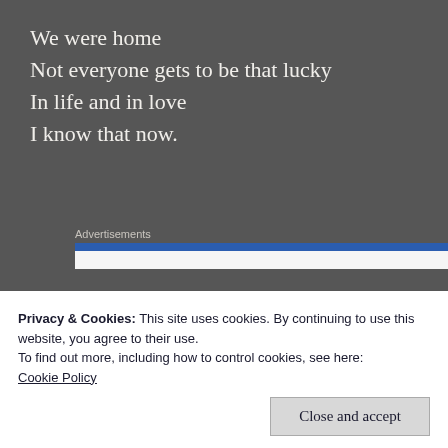We were home
Not everyone gets to be that lucky
In life and in love
I know that now.
Advertisements
[Figure (other): Advertisement banner with blue header bar and white content area]
Every single night
I tuck you in
Privacy & Cookies: This site uses cookies. By continuing to use this website, you agree to their use.
To find out more, including how to control cookies, see here:
Cookie Policy
Close and accept
Not for everyone